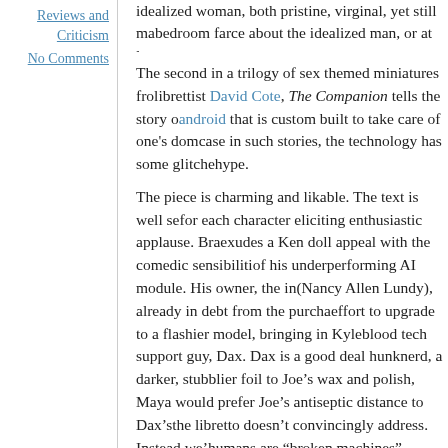Reviews and Criticism
No Comments
idealized woman, both pristine, virginal, yet still man bedroom farce about the idealized man, or at least te
The second in a trilogy of sex themed miniatures from librettist David Cote, The Companion tells the story of an android that is custom built to take care of one's domestic case in such stories, the technology has some glitches hype.
The piece is charming and likable. The text is well se for each character eliciting enthusiastic applause. Bra exudes a Ken doll appeal with the comedic sensibiliti of his underperforming AI module. His owner, the in (Nancy Allen Lundy), already in debt from the purcha effort to upgrade to a flashier model, bringing in Kyl blood tech support guy, Dax. Dax is a good deal hun nerd, a darker, stubblier foil to Joe's wax and polish, Maya would prefer Joe's antiseptic distance to Dax's the libretto doesn't convincingly address. Instead we' humans are "broken machines".
Ultimately, the story is rather thin. The plot twists in since Dax's attraction to Maya is spelled out in the se paramour is strongly hinted at back in the first. The p have benefited from a fresh angle other than the nove story is largely limited to the same tropes found in a topped with a sudden and largely unconvincing reso